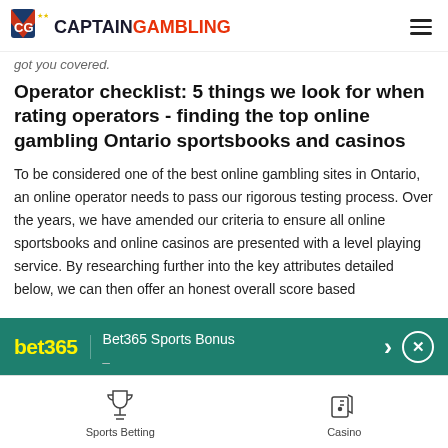CaptainGambling
got you covered.
Operator checklist: 5 things we look for when rating operators - finding the top online gambling Ontario sportsbooks and casinos
To be considered one of the best online gambling sites in Ontario, an online operator needs to pass our rigorous testing process. Over the years, we have amended our criteria to ensure all online sportsbooks and online casinos are presented with a level playing service. By researching further into the key attributes detailed below, we can then offer an honest overall score based
[Figure (other): Bet365 Sports Bonus promotional banner with bet365 logo, arrow and close button]
[Figure (other): Bottom navigation bar with Sports Betting trophy icon and Casino cards icon]